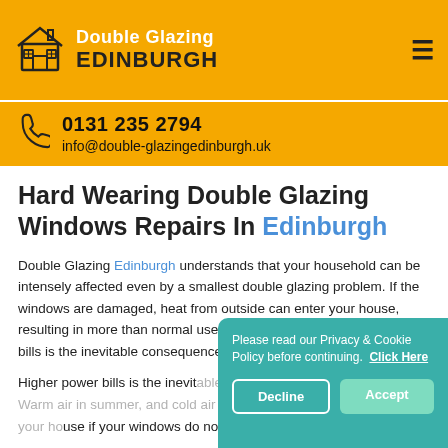Double Glazing EDINBURGH
0131 235 2794
info@double-glazingedinburgh.uk
Hard Wearing Double Glazing Windows Repairs In Edinburgh
Double Glazing Edinburgh understands that your household can be intensely affected even by a smallest double glazing problem. If the windows are damaged, heat from outside can enter your house, resulting in more than normal use of air conditioners.Higher power bills is the inevitable consequence of broken windows.
Higher power bills is the inevitable consequence of broken windows. Warm air in summer, and cold air during the rainy season can enter your house if your windows do not close properly.
Please read our Privacy & Cookie Policy before continuing. Click Here
Decline
Accept